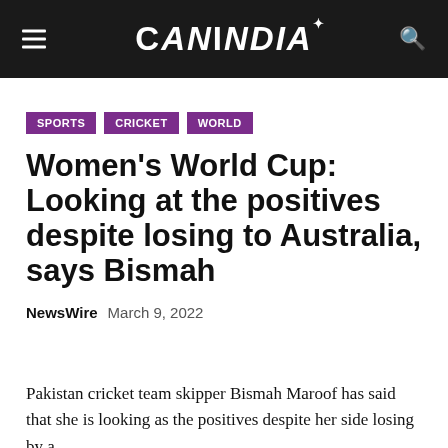CANINDIA
SPORTS
CRICKET
WORLD
Women's World Cup: Looking at the positives despite losing to Australia, says Bismah
NewsWire   March 9, 2022
Pakistan cricket team skipper Bismah Maroof has said that she is looking as the positives despite her side losing by a